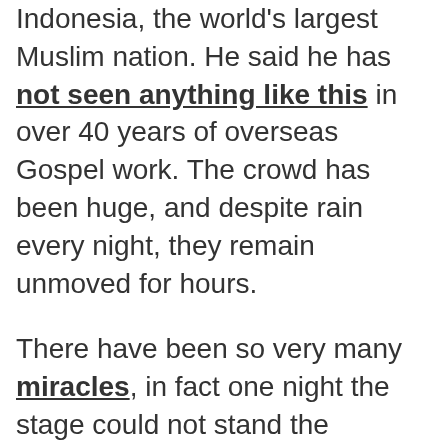Indonesia, the world's largest Muslim nation. He said he has not seen anything like this in over 40 years of overseas Gospel work. The crowd has been huge, and despite rain every night, they remain unmoved for hours.
There have been so very many miracles, in fact one night the stage could not stand the numbers coming to testify. Now he is going on to start the 3rd campaign in a different city.
Please pray for him and the team. The Federal head of police in Jakarta has asked him to stop at their head quarters and speak to the police force, in an effort to bring a calm and peace to the area that is seeing riots and